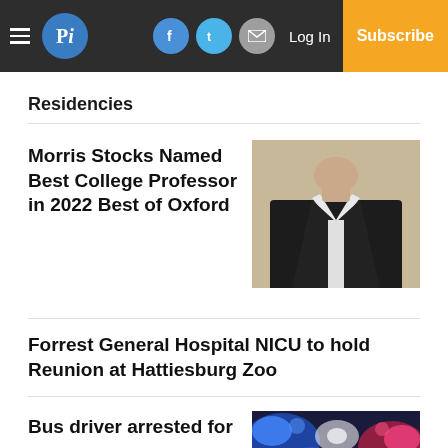Pi — navigation bar with hamburger menu, Pi logo, Facebook, Twitter, Email icons, Log In, Subscribe
Residencies
Morris Stocks Named Best College Professor in 2022 Best of Oxford
[Figure (photo): Man in dark suit jacket with white open-collar shirt, partial face visible]
Forrest General Hospital NICU to hold Reunion at Hattiesburg Zoo
Bus driver arrested for
[Figure (photo): Blurred police lights in blue, red and white colors]